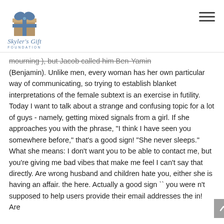Skyler's Gift Foundation
mourning ), but Jacob called him Ben-Yamin (Benjamin). Unlike men, every woman has her own particular way of communicating, so trying to establish blanket interpretations of the female subtext is an exercise in futility. Today I want to talk about a strange and confusing topic for a lot of guys - namely, getting mixed signals from a girl. If she approaches you with the phrase, "I think I have seen you somewhere before," that's a good sign! "She never sleeps." What she means: I don't want you to be able to contact me, but you're giving me bad vibes that make me feel I can't say that directly. Are wrong husband and children hate you, either she is having an affair. the here. Actually a good sign `` you were n't supposed to help users provide their email addresses the in! Are